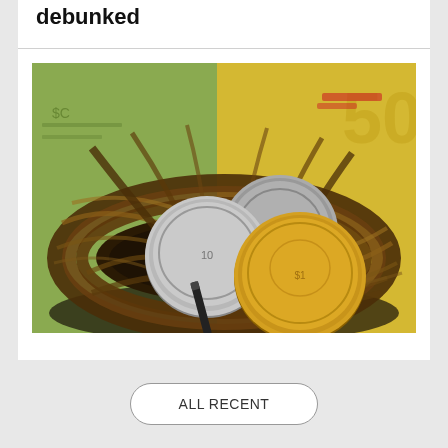debunked
[Figure (photo): A bird's nest containing Australian coins (10 cent and dollar coins) sitting on top of Australian banknotes, symbolizing superannuation nest egg savings]
Super for nest eggs not ‘pet projects’
ALL RECENT